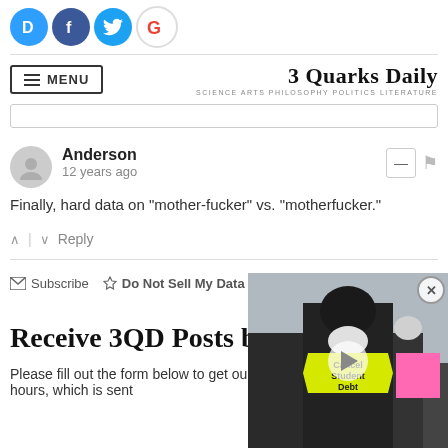[Figure (other): Social media icons row: Disqus (D), Facebook (f), Twitter bird, Google (G)]
MENU | 3 Quarks Daily — SCIENCE ARTS PHILOSOPHY POLITICS LITERATURE
Anderson
12 years ago
Finally, hard data on "mother-fucker" vs. "motherfucker."
Subscribe   Do Not Sell My Data   DISQUS
Receive 3QD Posts by
Please fill out the form below to get our posts from the previous 24 hours, which is sent
[Figure (photo): Video overlay showing protesters holding 'Cancel Student Debt' signs, with a play button overlay and close (X) button]